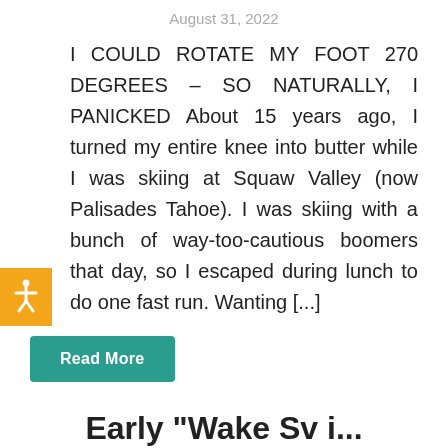August 31, 2022
I COULD ROTATE MY FOOT 270 DEGREES – SO NATURALLY, I PANICKED About 15 years ago, I turned my entire knee into butter while I was skiing at Squaw Valley (now Palisades Tahoe). I was skiing with a bunch of way-too-cautious boomers that day, so I escaped during lunch to do one fast run. Wanting [...]
Read More